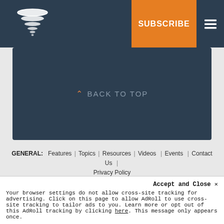[Figure (logo): Demand Gen Report logo — layered shield/tornado shape in white on dark background]
SUBSCRIBE
^ BACK TO TOP
GENERAL:  Features  |  Topics  |  Resources  |  Videos  |  Events  |  Contact Us  |  Privacy Policy
RESOURCES:  White Papers  |  E-books  |  Webinars  |  Research  |  Reports  |  Infographics  |  Briefs  |  Guides
ABOUT DEMAND GEN REPORT:  Overview  |  Meet The Team  |  Readership  |  Social Reach  |  Edit Calendar  |  Marketing Opps
Accept and Close ×
Your browser settings do not allow cross-site tracking for advertising. Click on this page to allow AdRoll to use cross-site tracking to tailor ads to you. Learn more or opt out of this AdRoll tracking by clicking here. This message only appears once.